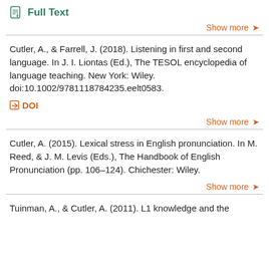Full Text
Show more
Cutler, A., & Farrell, J. (2018). Listening in first and second language. In J. I. Liontas (Ed.), The TESOL encyclopedia of language teaching. New York: Wiley. doi:10.1002/9781118784235.eelt0583.
DOI
Show more
Cutler, A. (2015). Lexical stress in English pronunciation. In M. Reed, & J. M. Levis (Eds.), The Handbook of English Pronunciation (pp. 106–124). Chichester: Wiley.
Show more
Tuinman, A., & Cutler, A. (2011). L1 knowledge and the